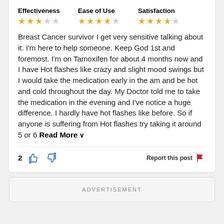Effectiveness | Ease of Use | Satisfaction
[Figure (infographic): Star ratings: Effectiveness 3/5, Ease of Use 4/5, Satisfaction 4/5]
Breast Cancer survivor I get very sensitive talking about it. I'm here to help someone. Keep God 1st and foremost. I'm on Tamoxifen for about 4 months now and I have Hot flashes like crazy and slight mood swings but I would take the medication early in the am and be hot and cold throughout the day. My Doctor told me to take the medication in the evening and I've notice a huge difference. I hardly have hot flashes like before. So if anyone is suffering from Hot flashes try taking it around 5 or 6 Read More ∨
[Figure (infographic): Thumbs up (count: 2), thumbs down icons and Report this post flag button]
ADVERTISEMENT